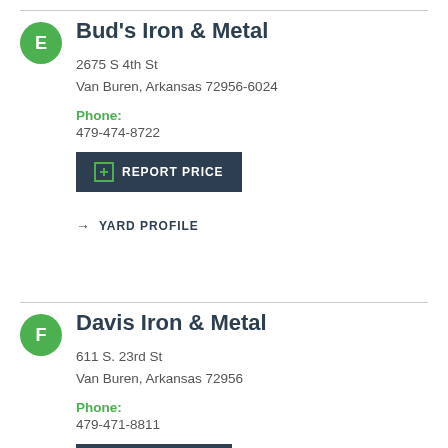Bud's Iron & Metal
2675 S 4th St
Van Buren, Arkansas 72956-6024
Phone:
479-474-8722
REPORT PRICE
→ YARD PROFILE
Davis Iron & Metal
611 S. 23rd St
Van Buren, Arkansas 72956
Phone:
479-471-8811